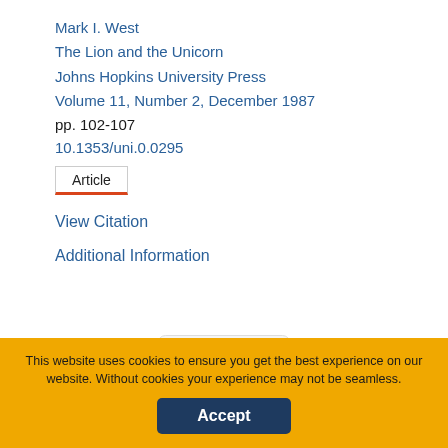Mark I. West
The Lion and the Unicorn
Johns Hopkins University Press
Volume 11, Number 2, December 1987
pp. 102-107
10.1353/uni.0.0295
Article
View Citation
Additional Information
collapse
You are not currently authenticated.
If you would like to authenticate using a different subscribed institution or
This website uses cookies to ensure you get the best experience on our website. Without cookies your experience may not be seamless.
Accept